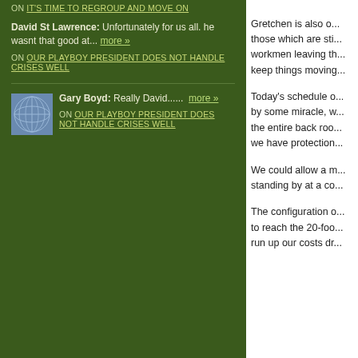ON IT'S TIME TO REGROUP AND MOVE ON
David St Lawrence: Unfortunately for us all. he wasnt that good at... more »
ON OUR PLAYBOY PRESIDENT DOES NOT HANDLE CRISES WELL
[Figure (logo): Blue globe/sphere icon avatar for Gary Boyd]
Gary Boyd: Really David...... more »
ON OUR PLAYBOY PRESIDENT DOES NOT HANDLE CRISES WELL
Gretchen is also o... those which are sti... workmen leaving th... keep things moving...
Today's schedule o... by some miracle, w... the entire back roo... we have protection...
We could allow a m... standing by at a co...
The configuration o... to reach the 20-foo... run up our costs dr...